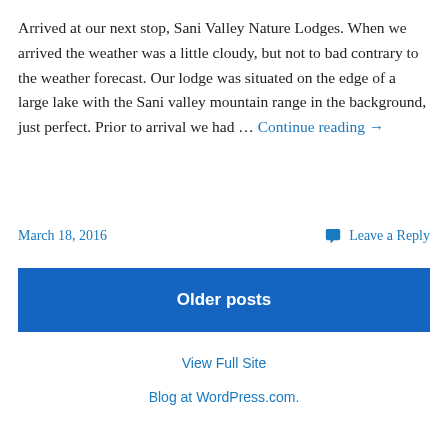Arrived at our next stop, Sani Valley Nature Lodges. When we arrived the weather was a little cloudy, but not to bad contrary to the weather forecast. Our lodge was situated on the edge of a large lake with the Sani valley mountain range in the background, just perfect. Prior to arrival we had … Continue reading →
March 18, 2016    Leave a Reply
Older posts
View Full Site
Blog at WordPress.com.